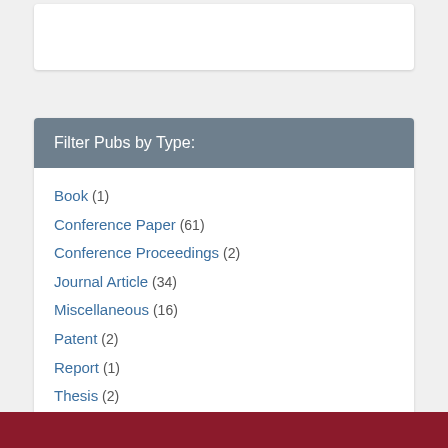Filter Pubs by Type:
Book (1)
Conference Paper (61)
Conference Proceedings (2)
Journal Article (34)
Miscellaneous (16)
Patent (2)
Report (1)
Thesis (2)
Web Article (3)